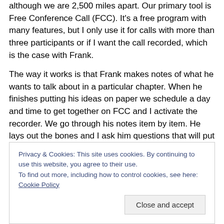although we are 2,500 miles apart. Our primary tool is Free Conference Call (FCC). It's a free program with many features, but I only use it for calls with more than three participants or if I want the call recorded, which is the case with Frank.
The way it works is that Frank makes notes of what he wants to talk about in a particular chapter. When he finishes putting his ideas on paper we schedule a day and time to get together on FCC and I activate the recorder. We go through his notes item by item. He lays out the bones and I ask him questions that will put the flesh on
Privacy & Cookies: This site uses cookies. By continuing to use this website, you agree to their use.
To find out more, including how to control cookies, see here: Cookie Policy
Close and accept